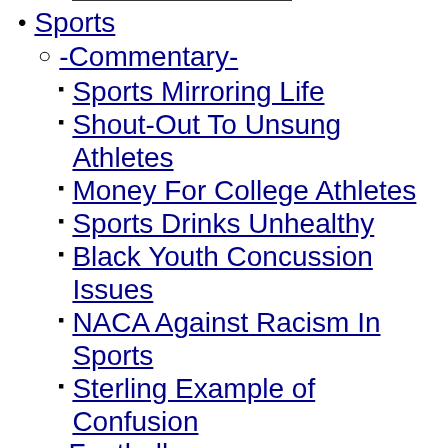Sports
-Commentary-
Sports Mirroring Life
Shout-Out To Unsung Athletes
Money For College Athletes
Sports Drinks Unhealthy
Black Youth Concussion Issues
NACA Against Racism In Sports
Sterling Example of Confusion
-Football-
Colleton's Williams Shines
New HBCU Bowl Game
Hanahan's Denmark Raises